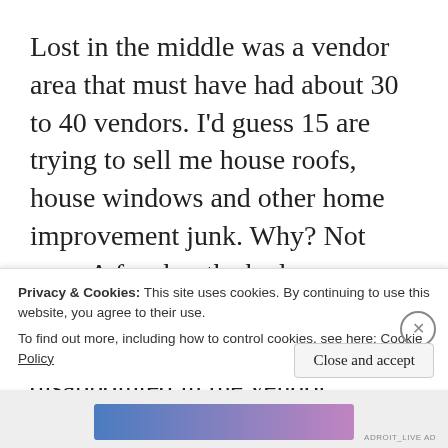Lost in the middle was a vendor area that must have had about 30 to 40 vendors. I'd guess 15 are trying to sell me house roofs, house windows and other home improvement junk. Why? Not sure. A few booths had campgrounds and a few RV related items but I was rather disappointed in the vendor offering. A local Ford dealer and RV dealer Olathe Ford had some pickups on display as well. I guess I'm too poor to trade in my 2010 F350 on a new F250 or 350 as they were like $65,000...
Privacy & Cookies: This site uses cookies. By continuing to use this website, you agree to their use.
To find out more, including how to control cookies, see here: Cookie Policy
Close and accept